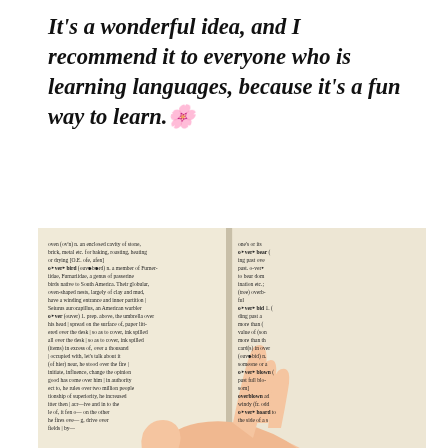It's a wonderful idea, and I recommend it to everyone who is learning languages, because it's a fun way to learn. 🌺
[Figure (photo): A hand pointing at a page of an English dictionary, showing entries around the word 'over', with definitions in small serif text.]
Privacidad y cookies: este sitio utiliza cookies. Al continuar utilizando esta web, aceptas su uso. Para obtener más información, incluido cómo controlar las cookies, consulta aquí: Política de cookies